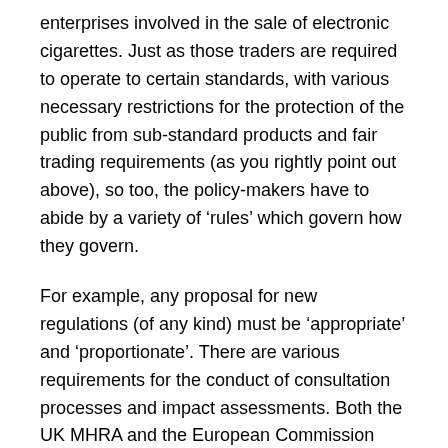enterprises involved in the sale of electronic cigarettes. Just as those traders are required to operate to certain standards, with various necessary restrictions for the protection of the public from sub-standard products and fair trading requirements (as you rightly point out above), so too, the policy-makers have to abide by a variety of ‘rules’ which govern how they govern.
For example, any proposal for new regulations (of any kind) must be ‘appropriate’ and ‘proportionate’. There are various requirements for the conduct of consultation processes and impact assessments. Both the UK MHRA and the European Commission have fallen far short of their own Codes of Conduct and standards in their consultation processes, and the proposals